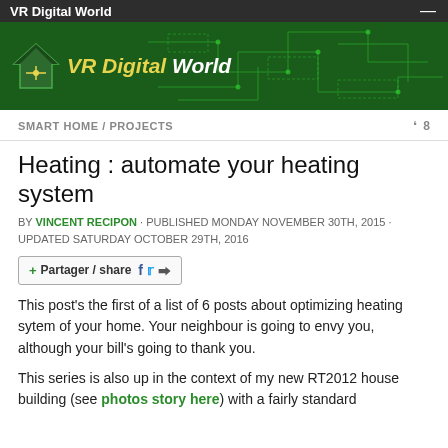VR Digital World
[Figure (logo): VR Digital World banner with green circuit board background and house logo]
SMART HOME / PROJECTS   8
Heating : automate your heating system
BY VINCENT RECIPON · PUBLISHED MONDAY NOVEMBER 30TH, 2015 · UPDATED SATURDAY OCTOBER 29TH, 2016
[Figure (other): Partager / share button with Facebook and Twitter icons]
This post's the first of a list of 6 posts about optimizing heating sytem of your home. Your neighbour is going to envy you, although your bill's going to thank you.
This series is also up in the context of my new RT2012 house building (see photos story here) with a fairly standard